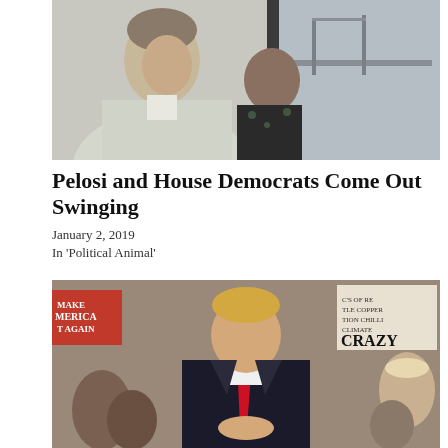[Figure (photo): Two women, one in a light blazer in the foreground looking out a window, another in dark clothing behind her, with a bridge or structure visible through the window]
Pelosi and House Democrats Come Out Swinging
January 2, 2019
In 'Political Animal'
[Figure (photo): A man in a dark suit with a red tie standing at a rally with crowd holding signs including one reading 'CRAZY' in the background]